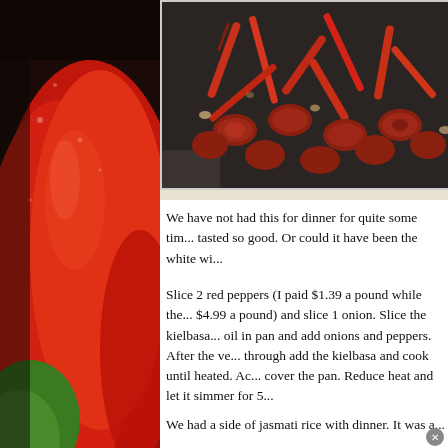[Figure (photo): Left side decorative background photo of red and green peppers, close-up shot]
[Figure (photo): A black skillet/pan containing cooked kielbasa sausage slices and red pepper strips, sautéed together]
We have not had this for dinner for quite some tim... tasted so good. Or could it have been the white wi...
Slice 2 red peppers (I paid $1.39 a pound while the... $4.99 a pound) and slice 1 onion. Slice the kielbasа... oil in pan and add onions and peppers. After the ve... through add the kielbasa and cook until heated. Ac... cover the pan. Reduce heat and let it simmer for 5...
We had a side of jasmati rice with dinner. It was a...